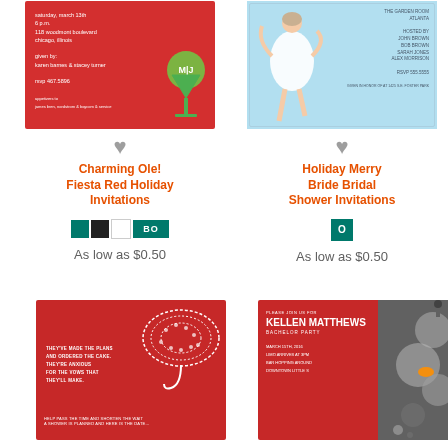[Figure (illustration): Red holiday party invitation card with white text, green monogram circle with M|J, and martini glass graphic]
[Figure (illustration): Light blue bridal shower invitation with illustration of bride in white dress, formal event details text]
♥
Charming Ole! Fiesta Red Holiday Invitations
♥
Holiday Merry Bride Bridal Shower Invitations
[Figure (illustration): Color swatches: teal square, black square, white square, BO teal rectangle]
As low as $0.50
[Figure (illustration): Color swatch: teal square with O letter]
As low as $0.50
[Figure (illustration): Red invitation card with decorative lace umbrella illustration and white text about shower]
[Figure (illustration): Red and grey bachelor party invitation for Kellen Matthews with abstract robot/figure graphic on right side]